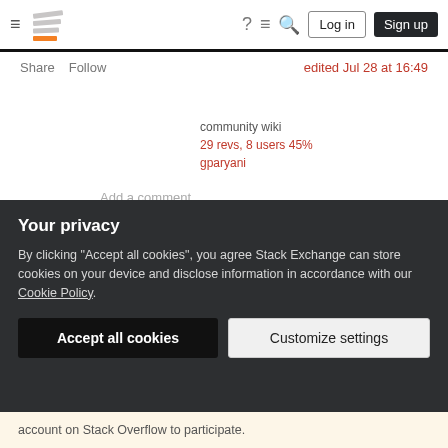Stack Overflow navigation bar with Log in and Sign up buttons
Share  Follow
edited Jul 28 at 16:49
community wiki
29 revs, 8 users 45%
gparyani
Add a comment
You must log in to answer this question.
Not the answer you're looking for? Browse other questions
Your privacy
By clicking "Accept all cookies", you agree Stack Exchange can store cookies on your device and disclose information in accordance with our Cookie Policy.
Accept all cookies   Customize settings
account on Stack Overflow to participate.